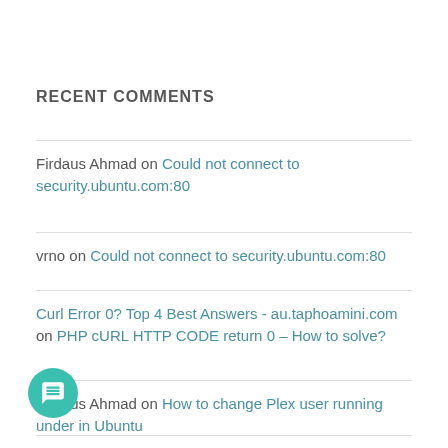RECENT COMMENTS
Firdaus Ahmad on Could not connect to security.ubuntu.com:80
vrno on Could not connect to security.ubuntu.com:80
Curl Error 0? Top 4 Best Answers - au.taphoamini.com on PHP cURL HTTP CODE return 0 – How to solve?
Firdaus Ahmad on How to change Plex user running under in Ubuntu
on How to change Plex user running under in Ubuntu